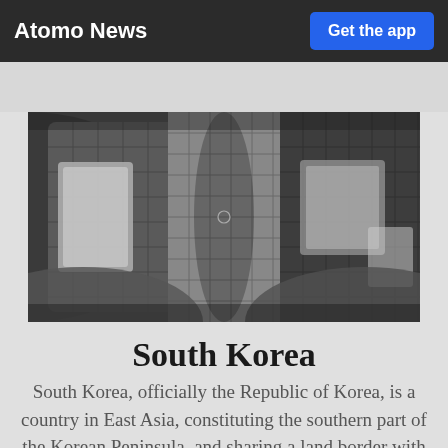Atomo News
Get the app
[Figure (photo): Interior of a nuclear fusion reactor (tokamak), showing tiled metallic walls in a cylindrical chamber, fisheye lens perspective revealing curved geometric tile patterns and metallic components.]
South Korea
South Korea, officially the Republic of Korea, is a country in East Asia, constituting the southern part of the Korean Peninsula, and sharing a land border with North Korea. 25 million